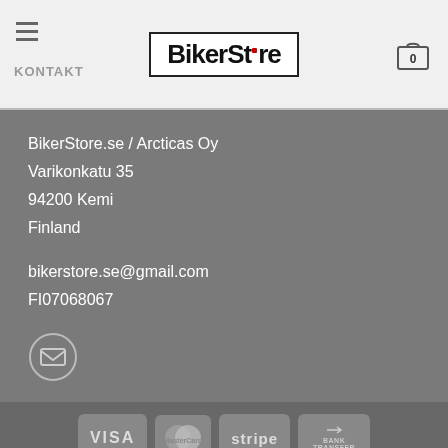BikerStore — KONTAKT header with cart
BikerStore.se / Arcticas Oy
Varikonkatu 35
94200 Kemi
Finland

bikerstore.se@gmail.com
FI07068067
[Figure (other): Email/envelope icon in circle]
Copyright 2022 © BikerStore.se